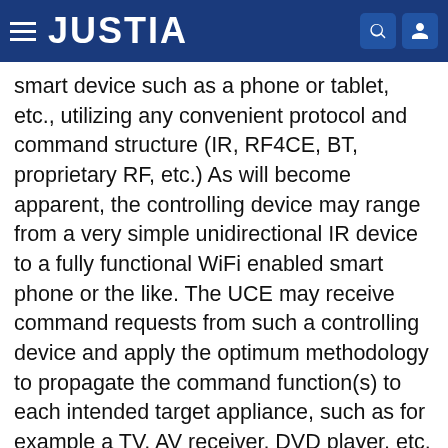JUSTIA
smart device such as a phone or tablet, etc., utilizing any convenient protocol and command structure (IR, RF4CE, BT, proprietary RF, etc.) As will become apparent, the controlling device may range from a very simple unidirectional IR device to a fully functional WiFi enabled smart phone or the like. The UCE may receive command requests from such a controlling device and apply the optimum methodology to propagate the command function(s) to each intended target appliance, such as for example a TV, AV receiver, DVD player, etc. In this manner the UCE may enable a single controlling device to command the operation of all appliances in a home theater system while coordinating available methods of controlling each particular appliance in order to select the best and most reliable method for issuing each command to each given device. By way of example without limitation, a UCE may utilize IR commands to